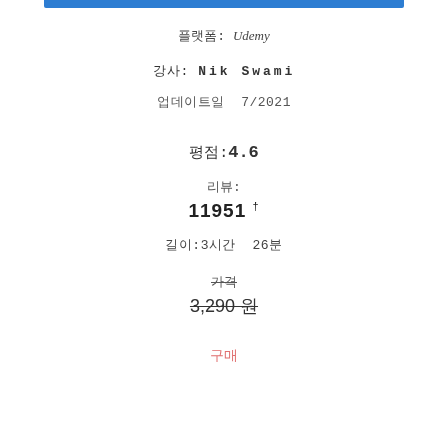플랫폼: Udemy
강사: Nik Swami
업데이트일 7/2021
평점:4.6
리뷰:
11951 †
길이:3시간 26분
가격
3,290 원
구매